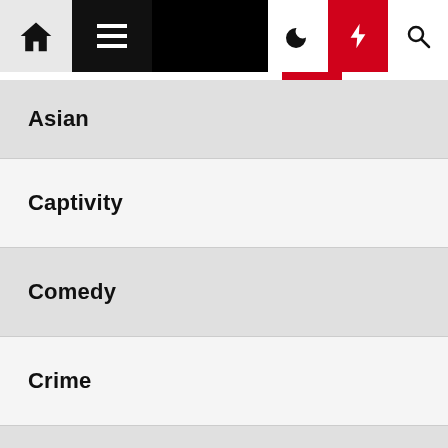Navigation bar with home, menu, moon, bolt, and search icons
Asian
Captivity
Comedy
Crime
Cult
Documentary
Drama
Exploitation
Fantasy